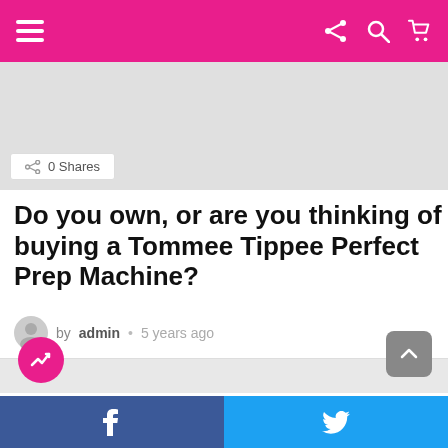Navigation bar with menu, share, search, cart icons
[Figure (screenshot): Grey advertisement placeholder area]
0 Shares
Do you own, or are you thinking of buying a Tommee Tippee Perfect Prep Machine?
by admin • 5 years ago
[Figure (screenshot): Trending/content area with pink trending badge icon and back-to-top button]
Facebook share | Twitter share social buttons